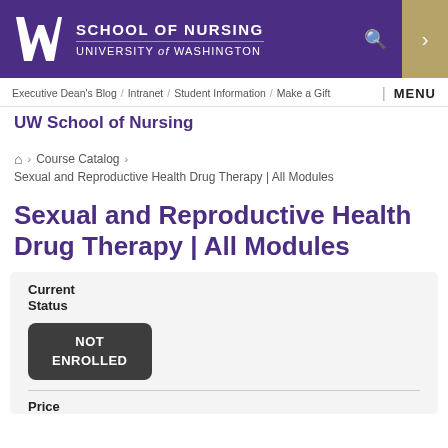SCHOOL OF NURSING UNIVERSITY of WASHINGTON
Executive Dean's Blog / Intranet / Student Information / Make a Gift
MENU
UW School of Nursing
Home > Course Catalog > Sexual and Reproductive Health Drug Therapy | All Modules
Sexual and Reproductive Health Drug Therapy | All Modules
Current Status NOT ENROLLED
Price